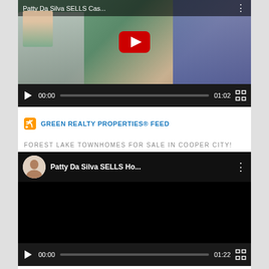[Figure (screenshot): YouTube video player thumbnail showing 'Patty Da Silva SELLS Cas...' with a man in sunglasses outdoors. Controls show 00:00 / 01:02.]
GREEN REALTY PROPERTIES® FEED
FOREST LAKE TOWNHOMES FOR SALE IN COOPER CITY!
[Figure (screenshot): YouTube video player showing 'Patty Da Silva SELLS Ho...' with channel avatar. Black video frame. Controls show 00:00 / 01:22.]